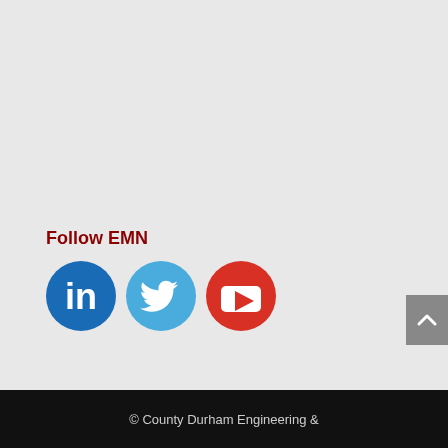Follow EMN
[Figure (illustration): Three social media icons in circles: LinkedIn (dark blue), Twitter (light blue), YouTube (red)]
© County Durham Engineering &